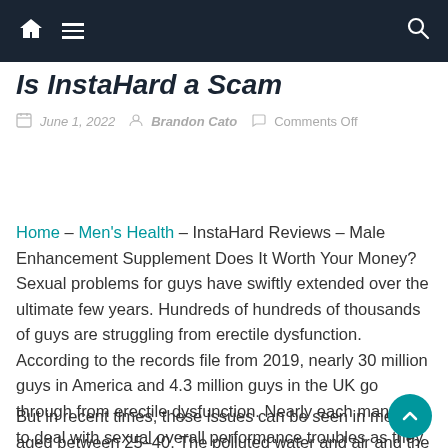Navigation bar with home, menu, and search icons
Is InstaHard a Scam
June 1, 2022  Brandon Cato  Comments Off
Home – Men's Health – InstaHard Reviews – Male Enhancement Supplement Does It Worth Your Money? Sexual problems for guys have swiftly extended over the ultimate few years. Hundreds of hundreds of thousands of guys are struggling from erectile dysfunction. According to the records file from 2019, nearly 30 million guys in America and 4.3 million guys in the UK go through from erectile dysfunction. Nearly each man has to deal with sexual overall performance troubles as they get older.
But in recent times, these issues can be seen in men aged between 25-40. The polluted water and air and the